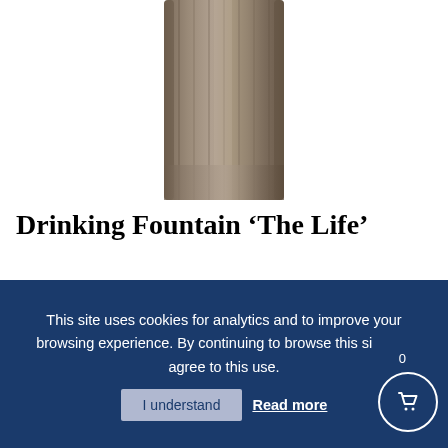[Figure (photo): Top portion of a drinking fountain product, showing a cylindrical brownish-grey metal body cropped at the top edge]
Drinking Fountain ‘The Life’
£630.00 – £810.00
[Figure (photo): Drinking fountain product photo showing a square stainless steel top with a water spout, mounted on a beige/tan pedestal body, against a blue background]
This site uses cookies for analytics and to improve your browsing experience. By continuing to browse this site you agree to this use. I understand Read more